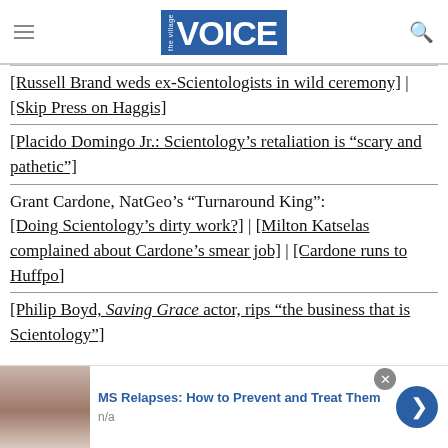the village VOICE
[Russell Brand weds ex-Scientologists in wild ceremony] | [Skip Press on Haggis]
[Placido Domingo Jr.: Scientology's retaliation is "scary and pathetic"]
Grant Cardone, NatGeo's "Turnaround King": [Doing Scientology's dirty work?] | [Milton Katselas complained about Cardone's smear job] | [Cardone runs to Huffpo]
[Philip Boyd, Saving Grace actor, rips "the business that is Scientology"]
[Figure (infographic): Advertisement banner: MS Relapses: How to Prevent and Treat Them, n/a, with woman's face photo, close button, and blue arrow button]